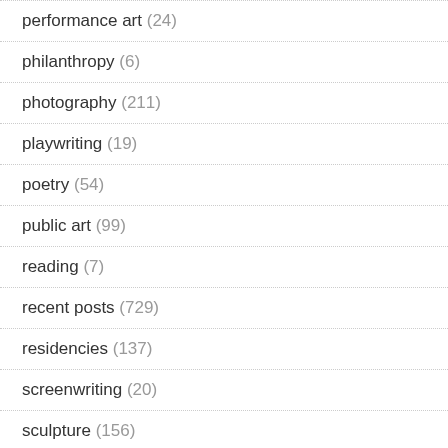performance art (24)
philanthropy (6)
photography (211)
playwriting (19)
poetry (54)
public art (99)
reading (7)
recent posts (729)
residencies (137)
screenwriting (20)
sculpture (156)
skillbuilding (70)